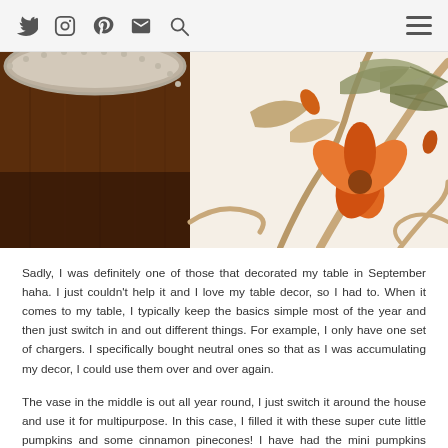Social media icons (Twitter, Instagram, Pinterest, Email, Search) and hamburger menu
[Figure (photo): Close-up photo of a decorative table setting with an ornate silver-edged plate or charger on a dark wood surface on the left, and an embroidered fabric with autumn floral motifs (orange flower, green and tan leaves, beige vines) on the right.]
Sadly, I was definitely one of those that decorated my table in September haha. I just couldn't help it and I love my table decor, so I had to. When it comes to my table, I typically keep the basics simple most of the year and then just switch in and out different things. For example, I only have one set of chargers. I specifically bought neutral ones so that as I was accumulating my decor, I could use them over and over again.
The vase in the middle is out all year round, I just switch it around the house and use it for multipurpose. In this case, I filled it with these super cute little pumpkins and some cinnamon pinecones! I have had the mini pumpkins (they are a perfect item to use year